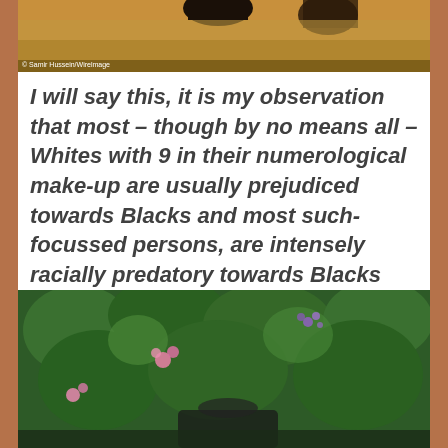[Figure (photo): Partial photo at top of page showing blurred figures/objects with warm yellow-brown tones, with a small photo credit watermark in bottom left corner]
I will say this, it is my observation that most – though by no means all – Whites with 9 in their numerological make-up are usually prejudiced towards Blacks and most such-focussed persons, are intensely racially predatory towards Blacks rather than not.
[Figure (photo): Photo at bottom of page showing lush green foliage/bushes with pink and purple flowers, and what appears to be a person partially visible at the bottom]